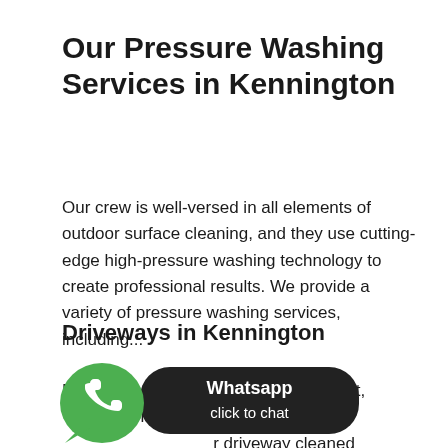Our Pressure Washing Services in Kennington
Our crew is well-versed in all elements of outdoor surface cleaning, and they use cutting-edge high-pressure washing technology to create professional results. We provide a variety of pressure washing services, including...
Driveways in Kennington
Driveways are frequently used the most, especially while parking your car. We recommend having your driveway cleaned at least once a year to avoid the accumulation of moss, algae, and even oil stains.
[Figure (other): WhatsApp click to chat button overlay with green phone icon and dark bubble saying 'Whatsapp click to chat']